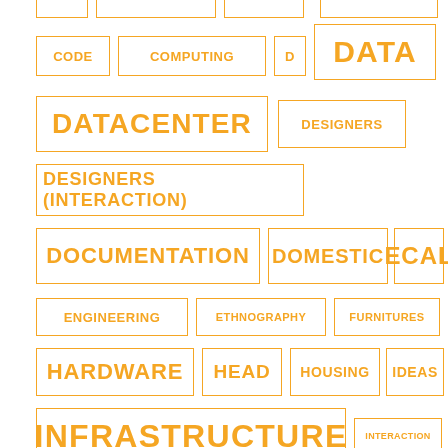[Figure (infographic): Tag cloud of technology and design-related keywords in orange outlined boxes at varying font sizes, representing topics such as CODE, COMPUTING, D, DATA, DATACENTER, DESIGNERS, DESIGNERS (INTERACTION), DOCUMENTATION, DOMESTIC, ECAL, ENGINEERING, ETHNOGRAPHY, FURNITURES, HARDWARE, HEAD, HOUSING, IDEAS, INFRASTRUCTURE, INTERACTION, INTERFACE, INTERNET, LINKS, MAKERS]